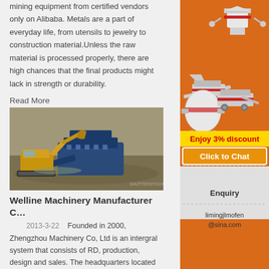mining equipment from certified vendors only on Alibaba. Metals are a part of everyday life, from utensils to jewelry to construction material.Unless the raw material is processed properly, there are high chances that the final products might lack in strength or durability.
Read More
[Figure (photo): Excavator and blue mining/crushing equipment at a worksite]
Welline Machinery Manufacturer C…
2013-3-22   Founded in 2000, Zhengzhou Machinery Co, Ltd is an intergral system that consists of RD, production, design and sales. The headquarters located at Xushui Trade and Industry District, Zhengzhou, Henan Province.
Read More
[Figure (photo): Blue partial image strip at bottom]
[Figure (illustration): Orange sidebar with industrial machinery equipment images (cone crusher, mobile crushing plant, ball mill), yellow 'Enjoy 3% discount' banner, orange 'Click to Chat' button, Enquiry section, and limingjlmofen@sina.com email]